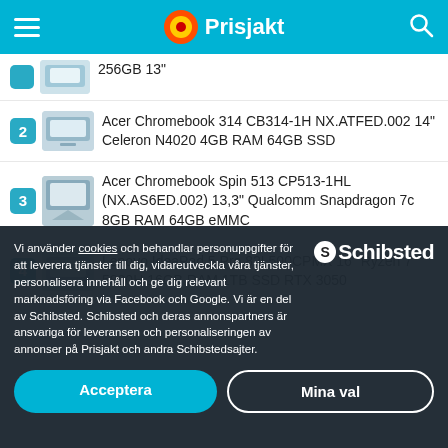Prisjakt
256GB 13"
2 Acer Chromebook 314 CB314-1H NX.ATFED.002 14" Celeron N4020 4GB RAM 64GB SSD
3 Acer Chromebook Spin 513 CP513-1HL (NX.AS6ED.002) 13,3" Qualcomm Snapdragon 7c 8GB RAM 64GB eMMC
4 Lenovo IdeaPad 5 Pro 82L500CPMX 16" Ryzen 7 5800H 16GB RAM 1TB SSD RTX 3050
Vi använder cookies och behandlar personuppgifter för att leverera tjänster till dig, vidareutveckla våra tjänster, personalisera innehåll och ge dig relevant marknadsföring via Facebook och Google. Vi är en del av Schibsted. Schibsted och deras annonspartners är ansvariga för leveransen och personaliseringen av annonser på Prisjakt och andra Schibstedsajter.
Acceptera
Mina val